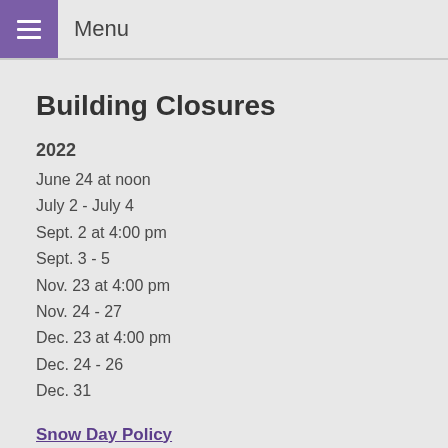Menu
Building Closures
2022
June 24 at noon
July 2 - July 4
Sept. 2 at 4:00 pm
Sept. 3 - 5
Nov. 23 at 4:00 pm
Nov. 24 - 27
Dec. 23 at 4:00 pm
Dec. 24 - 26
Dec. 31
Snow Day Policy